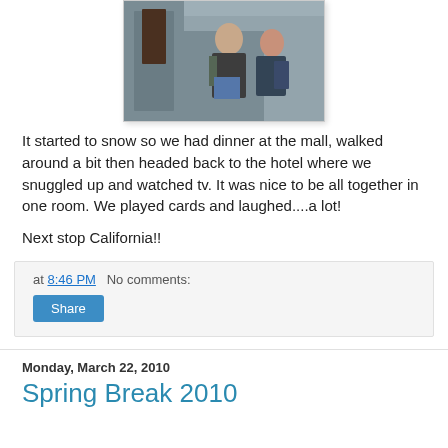[Figure (photo): Two people standing in front of a brick building with a large wooden door.]
It started to snow so we had dinner at the mall, walked around a bit then headed back to the hotel where we snuggled up and watched tv. It was nice to be all together in one room. We played cards and laughed....a lot!
Next stop California!!
at 8:46 PM   No comments:
Share
Monday, March 22, 2010
Spring Break 2010